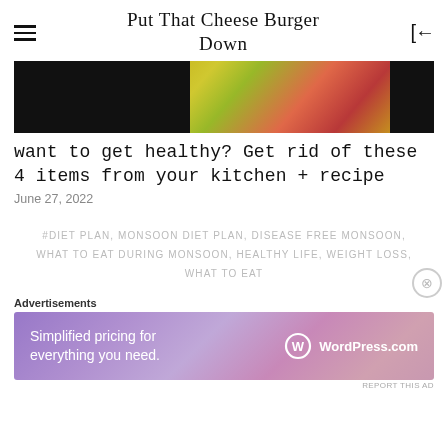Put That Cheese Burger Down
[Figure (photo): Cropped hero image showing tropical flowers/plants against a dark background]
want to get healthy? Get rid of these 4 items from your kitchen + recipe
June 27, 2022
#DIET PLAN, MONSOON DIET PLAN, DISEASE FREE MONSOON, WHAT TO EAT DURING MONSOON, HEALTHY LIFE, WEIGHT LOSS, WHAT TO EAT
Advertisements
[Figure (screenshot): WordPress.com advertisement banner: Simplified pricing for everything you need.]